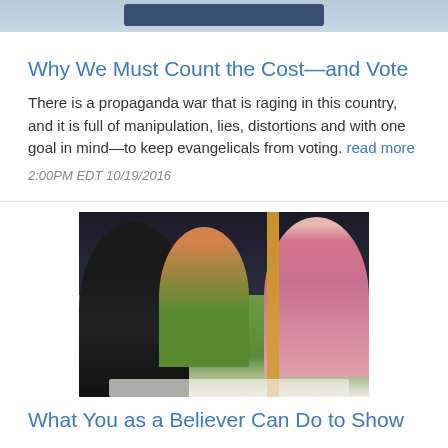[Figure (photo): Partial top view of what appears to be a mailbox or postal item, cropped at the top of the page]
Why We Must Count the Cost—and Vote
There is a propaganda war that is raging in this country, and it is full of manipulation, lies, distortions and with one goal in mind—to keep evangelicals from voting. read more
2:00PM EDT 10/19/2016
[Figure (photo): Three people sitting at a table outdoors, laughing and smiling. Two women (one in black, one in green) and one man in a pink plaid shirt. Green foliage and dark fence visible in background.]
What You as a Believer Can Do to Show